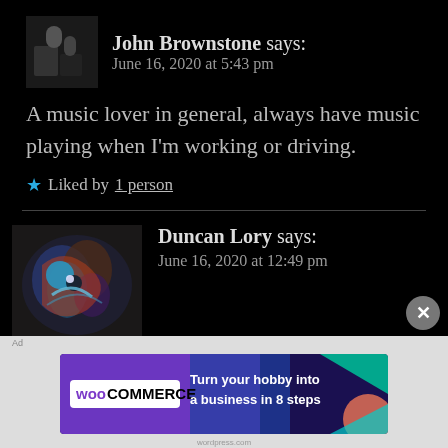John Brownstone says: June 16, 2020 at 5:43 pm
A music lover in general, always have music playing when I'm working or driving.
★ Liked by 1 person
Duncan Lory says: June 16, 2020 at 12:49 pm
Yup
[Figure (screenshot): WooCommerce advertisement banner: Turn your hobby into a business in 8 steps]